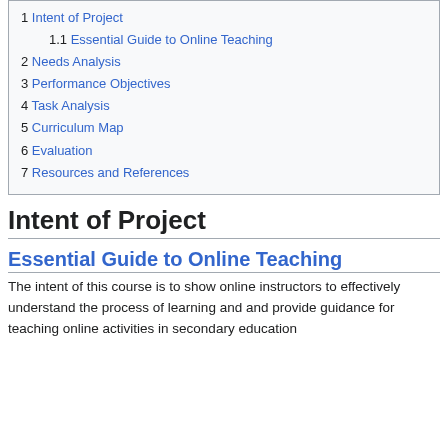1 Intent of Project
1.1 Essential Guide to Online Teaching
2 Needs Analysis
3 Performance Objectives
4 Task Analysis
5 Curriculum Map
6 Evaluation
7 Resources and References
Intent of Project
Essential Guide to Online Teaching
The intent of this course is to show online instructors to effectively understand the process of learning and and provide guidance for teaching online activities in secondary education